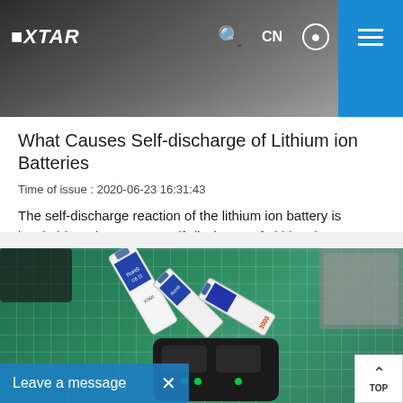[Figure (screenshot): XTAR website navigation bar with logo, search icon, CN language toggle, user icon, and blue hamburger menu button on dark background hero image]
What Causes Self-discharge of Lithium ion Batteries
Time of issue : 2020-06-23 16:31:43
The self-discharge reaction of the lithium ion battery is inevitable. What causes self-discharge of Lithium ion batteries? Is there any misunderstanding of self-discharge? Find the answers in this art
[Figure (photo): Photo of lithium-ion batteries (RoHS CE marked) scattered on a green cutting mat next to a battery charger with green LED indicators]